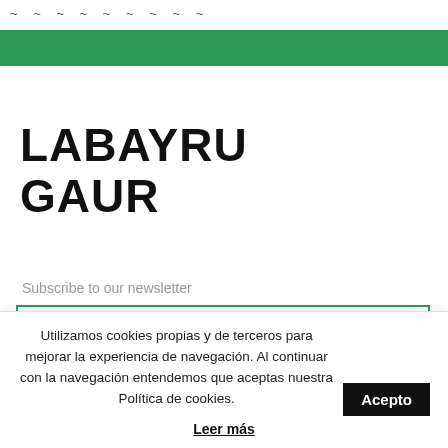~ ~ ~ ~ ~ ~ ~ ~ ~
[Figure (other): Green navigation bar]
LABAYRU GAUR
Subscribe to our newsletter
Name
Utilizamos cookies propias y de terceros para mejorar la experiencia de navegación. Al continuar con la navegación entendemos que aceptas nuestra Política de cookies.
Acepto
Leer más